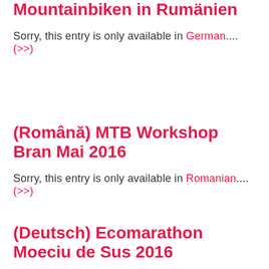Mountainbiken in Rumänien
Sorry, this entry is only available in German.... (>>)
(Română) MTB Workshop Bran Mai 2016
Sorry, this entry is only available in Romanian.... (>>)
(Deutsch) Ecomarathon Moeciu de Sus 2016